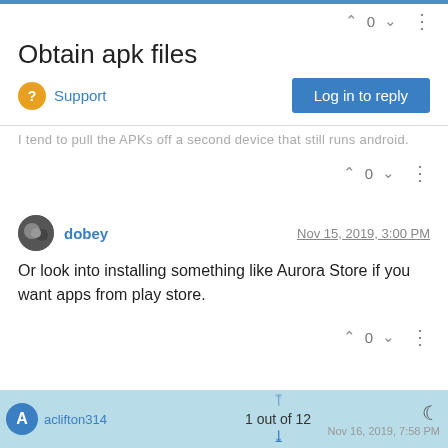Obtain apk files
Support
I tend to pull the APKs off a second device that still runs android.
dobey  Nov 15, 2019, 3:00 PM
Or look into installing something like Aurora Store if you want apps from play store.
aclifton314  1 out of 12  Nov 16, 2019, 7:58 PM